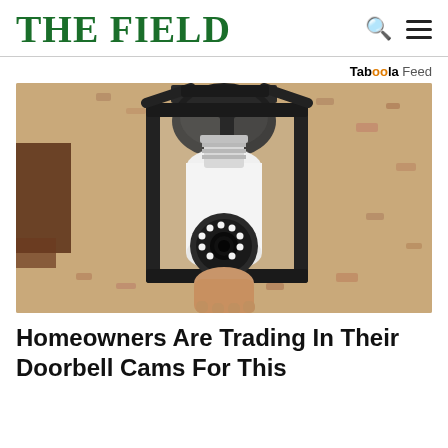THE FIELD
Taboola Feed
[Figure (photo): An outdoor wall-mounted lantern fixture containing a white smart security camera bulb shaped like a traditional lightbulb but with a round camera lens and LED ring at the bottom, mounted on a textured stone or stucco wall.]
Homeowners Are Trading In Their Doorbell Cams For This